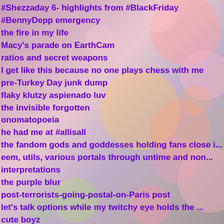#Shezzaday 6- highlights from #BlackFriday
#BennyDepp emergency
the fire in my life
Macy's parade on EarthCam
ratios and secret weapons
I get like this because no one plays chess with me
pre-Turkey Day junk dump
flaky klutzy aspienado luv
the invisible forgotten
onomatopoeia
he had me at #allisall
the fandom gods and goddesses holding fans close i...
eem, utils, various portals through untime and non...
interpretations
the purple blur
post-terrorists-going-postal-on-Paris post
let's talk options while my twitchy eye holds the ...
cute boyz